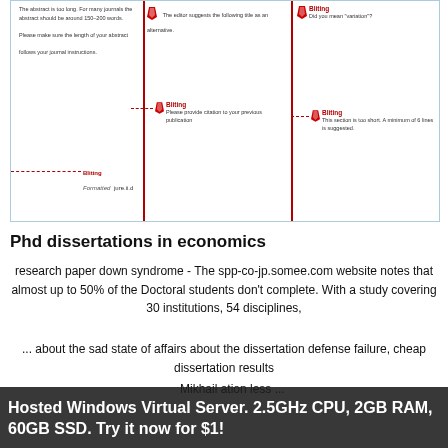[Figure (screenshot): Screenshot of a document editor showing manuscript revision comments in three columns. Comments include notes about abstract length, citation requests, and section length suggestions, with red comment markers and dotted lines.]
Phd dissertations in economics
research paper down syndrome - The spp-co-jp.somee.com website notes that almost up to 50% of the Doctoral students don't complete. With a study covering 30 institutions, 54 disciplines, ... about the sad state of affairs about the dissertation defense failure, cheap dissertation results ... Mikhail ation less ...
Hosted Windows Virtual Server. 2.5GHz CPU, 2GB RAM, 60GB SSD. Try it now for $1!